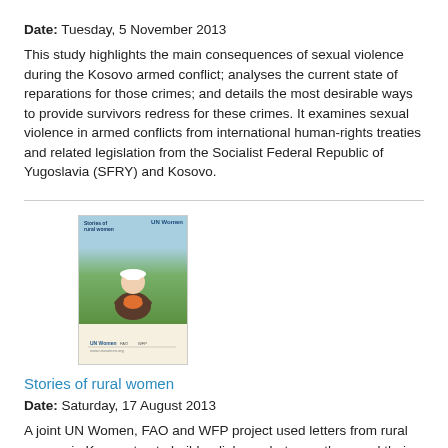Date: Tuesday, 5 November 2013
This study highlights the main consequences of sexual violence during the Kosovo armed conflict; analyses the current state of reparations for those crimes; and details the most desirable ways to provide survivors redress for these crimes. It examines sexual violence in armed conflicts from international human-rights treaties and related legislation from the Socialist Federal Republic of Yugoslavia (SFRY) and Kosovo.
[Figure (photo): Book cover showing a woman in rural setting holding produce, with a blue top bar and UN Women/FAO/WFP logos at bottom. Title appears to be 'Stories of rural women'.]
Stories of rural women
Date: Saturday, 17 August 2013
A joint UN Women, FAO and WFP project used letters from rural women in Kyrgyzstan to build a dialogue between them and their local service providers. This examines best practices that arose after project members used the stories in the letters to run